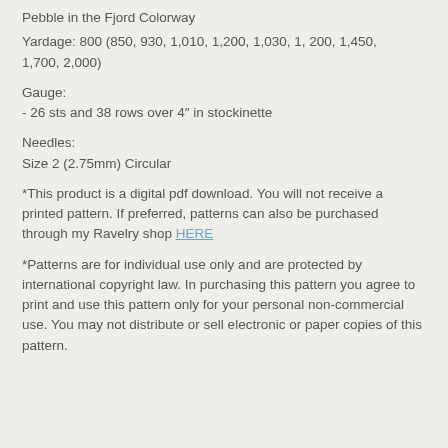Pebble in the Fjord Colorway
Yardage: 800 (850, 930, 1,010, 1,200, 1,030, 1, 200, 1,450, 1,700, 2,000)
Gauge:
- 26 sts and 38 rows over 4" in stockinette
Needles:
Size 2 (2.75mm) Circular
*This product is a digital pdf download. You will not receive a printed pattern. If preferred, patterns can also be purchased through my Ravelry shop HERE
*Patterns are for individual use only and are protected by international copyright law. In purchasing this pattern you agree to print and use this pattern only for your personal non-commercial use. You may not distribute or sell electronic or paper copies of this pattern.